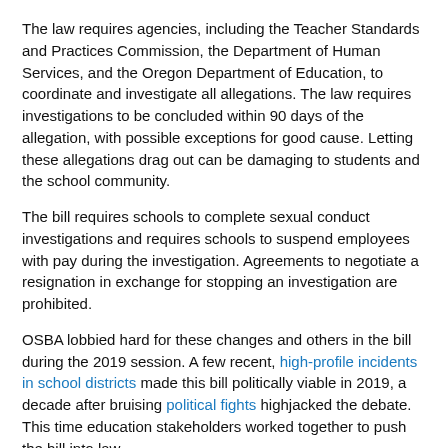The law requires agencies, including the Teacher Standards and Practices Commission, the Department of Human Services, and the Oregon Department of Education, to coordinate and investigate all allegations. The law requires investigations to be concluded within 90 days of the allegation, with possible exceptions for good cause. Letting these allegations drag out can be damaging to students and the school community.
The bill requires schools to complete sexual conduct investigations and requires schools to suspend employees with pay during the investigation. Agreements to negotiate a resignation in exchange for stopping an investigation are prohibited.
OSBA lobbied hard for these changes and others in the bill during the 2019 session. A few recent, high-profile incidents in school districts made this bill politically viable in 2019, a decade after bruising political fights highjacked the debate. This time education stakeholders worked together to push the bill into law.
The effectiveness of the bill will be amplified by another recently passed bill. SB 415 makes school board members and charter board members mandatory reporters of child abuse.
Although SB 155 will affect only a small percentage of school employees, it gives school districts better tools for addressing predatory behavior.
- Richard Donovan
Legislative Services specialist